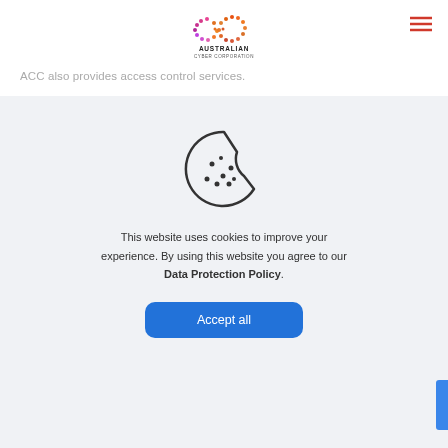[Figure (logo): Australian Cyber Corporation logo — colorful infinity/loop symbol above the text AUSTRALIAN CYBER CORPORATION]
ACC also provides access control services.
[Figure (illustration): Cookie consent dialog with a cookie icon (outline style, bitten cookie with dots), text explaining cookie usage, a bold link 'Data Protection Policy', and a blue 'Accept all' button]
This website uses cookies to improve your experience. By using this website you agree to our Data Protection Policy.
Accept all